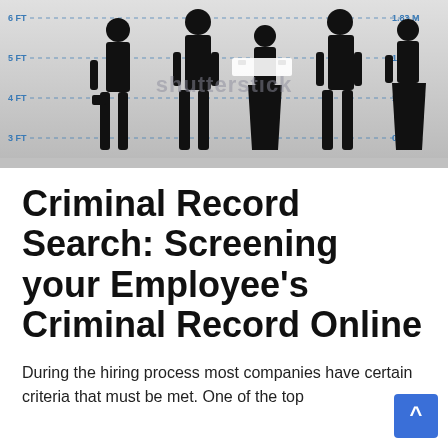[Figure (illustration): Police lineup illustration showing five silhouetted figures (men and women in business attire) standing against a height measurement wall. Left side shows height markers: 6 FT, 5 FT, 4 FT, 3 FT. Right side shows metric equivalents: 1.83 M, 1.52 M, 1.22 M, 0.91 M. Shutterstock watermark visible across the image.]
Criminal Record Search: Screening your Employee's Criminal Record Online
During the hiring process most companies have certain criteria that must be met. One of the top